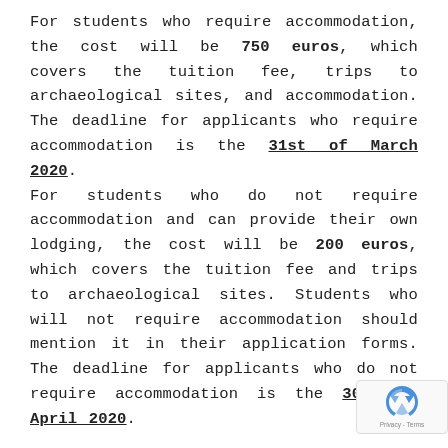For students who require accommodation, the cost will be 750 euros, which covers the tuition fee, trips to archaeological sites, and accommodation. The deadline for applicants who require accommodation is the 31st of March 2020.
For students who do not require accommodation and can provide their own lodging, the cost will be 200 euros, which covers the tuition fee and trips to archaeological sites. Students who will not require accommodation should mention it in their application forms. The deadline for applicants who do not require accommodation is the 30th of April 2020.